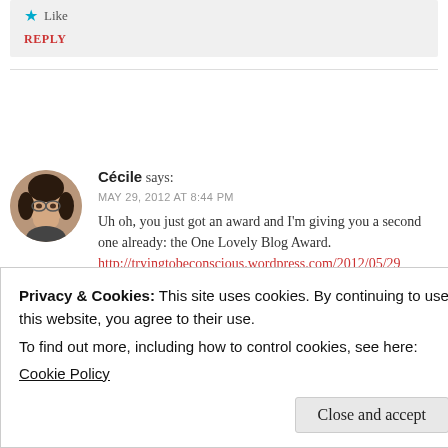★ Like
REPLY
Cécile says:
MAY 29, 2012 AT 8:44 PM
Uh oh, you just got an award and I'm giving you a second one already: the One Lovely Blog Award.
http://tryingtobeconscious.wordpress.com/2012/05/29/a-little-sugar-in-my-bowl/
Don't worry, it doesn't necessarily mean endless rules
Privacy & Cookies: This site uses cookies. By continuing to use this website, you agree to their use.
To find out more, including how to control cookies, see here:
Cookie Policy
Close and accept